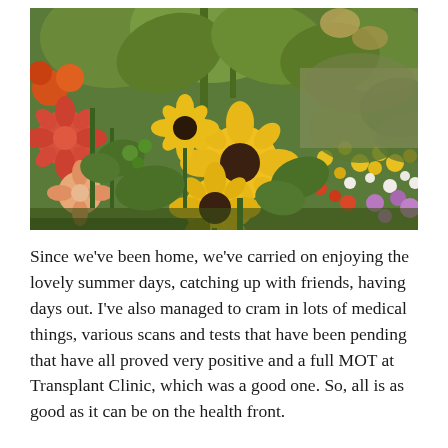[Figure (photo): A lush garden photograph showing sunflowers, yellow black-eyed Susans, orange and pink dahlias, and various other colourful summer flowers and tall leafy plants filling the frame.]
Since we’ve been home, we’ve carried on enjoying the lovely summer days, catching up with friends, having days out. I’ve also managed to cram in lots of medical things, various scans and tests that have been pending that have all proved very positive and a full MOT at Transplant Clinic, which was a good one. So, all is as good as it can be on the health front.